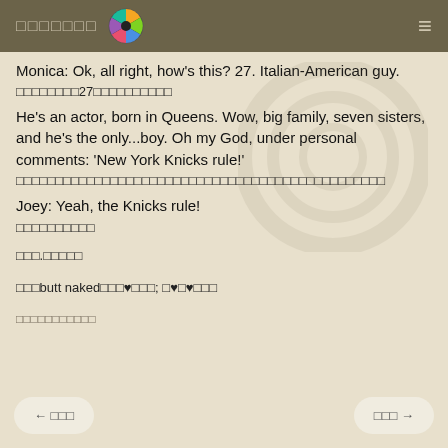□□□□□□□ [wheel icon] ≡
Monica: Ok, all right, how's this? 27. Italian-American guy.
□□□□□□□□27□□□□□□□□□□
He's an actor, born in Queens. Wow, big family, seven sisters, and he's the only...boy. Oh my God, under personal comments: 'New York Knicks rule!'
□□□□□□□□□□□□□□□□□□□□□□□□□□□□□□□□□□□□□□□□□□□□□□□□□□□□□□□□□□□□
Joey: Yeah, the Knicks rule!
□□□□□□□□□□
□□□.□□□□□
□□□butt naked□□□♥□□□; □♥□♥□□□
□□□□□□□□□□□
← □□□   □□□ →